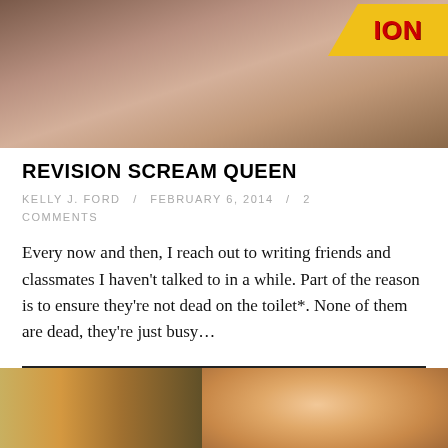[Figure (photo): Top portion of a photo showing a person with blood-stained clothing and a yellow/red text overlay partially visible reading 'ION']
REVISION SCREAM QUEEN
KELLY J. FORD / FEBRUARY 6, 2014 / 2 COMMENTS
Every now and then, I reach out to writing friends and classmates I haven't talked to in a while. Part of the reason is to ensure they're not dead on the toilet*. None of them are dead, they're just busy…
[Figure (photo): Bottom portion showing a person with blonde/red hair screaming or yelling, with colorful background]